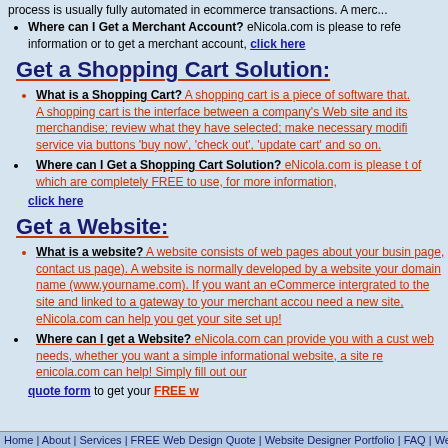process is usually fully automated in ecommerce transactions. A merc...
Where can I Get a Merchant Account? eNicola.com is please to refer information or to get a merchant account, click here
<Back To Top
Get a Shopping Cart Solution:
What is a Shopping Cart? A shopping cart is a piece of software that. A shopping cart is the interface between a company's Web site and its merchandise; review what they have selected; make necessary modifi service via buttons 'buy now', 'check out', 'update cart' and so on.
Where can I Get a Shopping Cart Solution? eNicola.com is please t of which are completely FREE to use, for more information, click here
<Back To Top
Get a Website:
What is a website? A website consists of web pages about your busi page, contact us page). A website is normally developed by a website your domain name (www.yourname.com). If you want an eCommerce intergrated to the site and linked to a gateway to your merchant accou need a new site, eNicola.com can help you get your site set up!
Where can I get a Website? eNicola.com can provide you with a cust web needs, whether you want a simple informational website, a site re enicola.com can help! Simply fill out our quote form to get your FREE
<Back To Top
Home | About | Services | FREE Web Design Quote | Website Designer Portfolio | FAQ | Web Hosti...